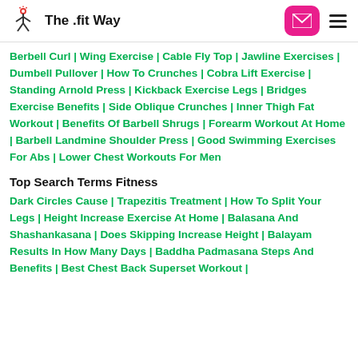The .fit Way
Berbell Curl | Wing Exercise | Cable Fly Top | Jawline Exercises | Dumbell Pullover | How To Crunches | Cobra Lift Exercise | Standing Arnold Press | Kickback Exercise Legs | Bridges Exercise Benefits | Side Oblique Crunches | Inner Thigh Fat Workout | Benefits Of Barbell Shrugs | Forearm Workout At Home | Barbell Landmine Shoulder Press | Good Swimming Exercises For Abs | Lower Chest Workouts For Men
Top Search Terms Fitness
Dark Circles Cause | Trapezitis Treatment | How To Split Your Legs | Height Increase Exercise At Home | Balasana And Shashankasana | Does Skipping Increase Height | Balayam Results In How Many Days | Baddha Padmasana Steps And Benefits | Best Chest Back Superset Workout | Which Are Best To Control Acne | Vitamins...